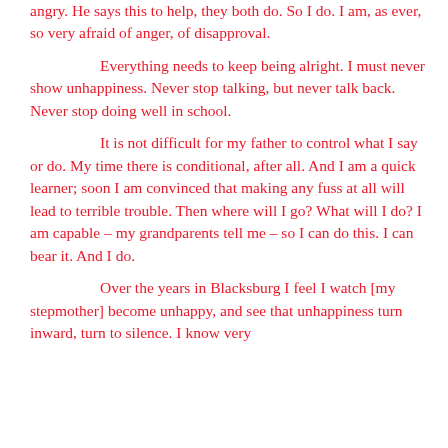angry. He says this to help, they both do. So I do. I am, as ever, so very afraid of anger, of disapproval.
Everything needs to keep being alright. I must never show unhappiness. Never stop talking, but never talk back. Never stop doing well in school.
It is not difficult for my father to control what I say or do. My time there is conditional, after all. And I am a quick learner; soon I am convinced that making any fuss at all will lead to terrible trouble. Then where will I go? What will I do? I am capable – my grandparents tell me – so I can do this. I can bear it. And I do.
Over the years in Blacksburg I feel I watch [my stepmother] become unhappy, and see that unhappiness turn inward, turn to silence. I know very well that silence matters, like an electric still